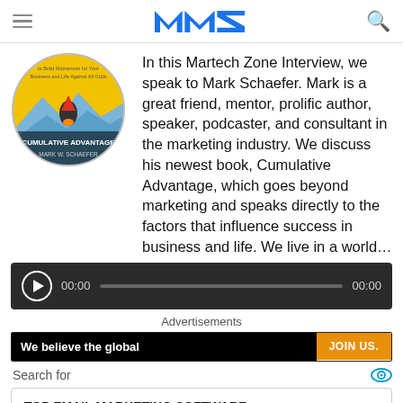Martech Zone (MNZ logo)
[Figure (illustration): Circular book cover for 'Cumulative Advantage' by Mark W. Schaefer with yellow and blue background showing a figure riding a rocket]
In this Martech Zone Interview, we speak to Mark Schaefer. Mark is a great friend, mentor, prolific author, speaker, podcaster, and consultant in the marketing industry. We discuss his newest book, Cumulative Advantage, which goes beyond marketing and speaks directly to the factors that influence success in business and life. We live in a world…
[Figure (other): Audio player with play button, timestamp 00:00, progress bar, and end time 00:00 on dark background]
Advertisements
[Figure (other): Advertisement banner: black section 'We believe the global' with orange 'JOIN US.' button]
Search for
TOP EMAIL MARKETING SOFTWARE →
DIGITAL MARKETING SOFTWARE ONLINE →
Ad | Business Focus